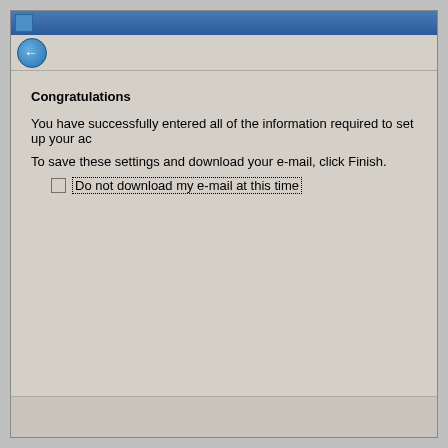[Figure (screenshot): Windows dialog window with blue title bar, back button toolbar, and gray content area showing a Congratulations setup completion screen with a checkbox option]
Congratulations
You have successfully entered all of the information required to set up your ac
To save these settings and download your e-mail, click Finish.
Do not download my e-mail at this time